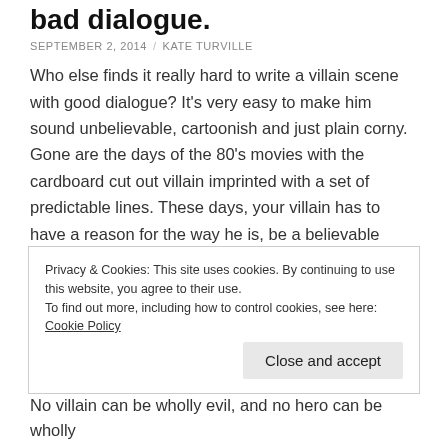bad dialogue.
SEPTEMBER 2, 2014 / KATE TURVILLE
Who else finds it really hard to write a villain scene with good dialogue? It's very easy to make him sound unbelievable, cartoonish and just plain corny. Gone are the days of the 80's movies with the cardboard cut out villain imprinted with a set of predictable lines. These days, your villain has to have a reason for the way he is, be a believable character and has to have some amazing lines.
Privacy & Cookies: This site uses cookies. By continuing to use this website, you agree to their use.
To find out more, including how to control cookies, see here: Cookie Policy
Close and accept
No villain can be wholly evil, and no hero can be wholly